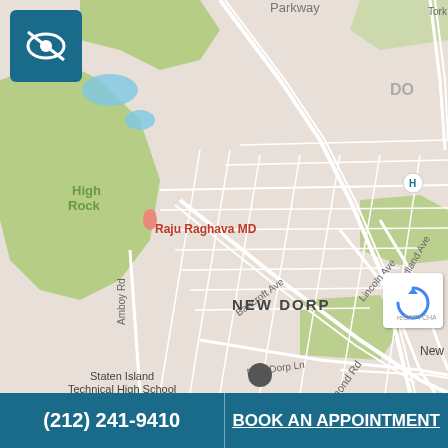[Figure (map): Google Maps view of Staten Island, New York showing location of Joshua Rosenberg, MD near New Dorp neighborhood. Map shows streets including Richmond Rd, Bancroft Ave, Lincoln Ave, Midland Ave, Amboy Rd. Notable landmarks: Raju Raghava MD, Joshua Rosenberg MD (red pin), Staten Island University Hospital - North, McDonald's, New Dorp High School, Staten Island Technical High School. Neighborhoods labeled: New Dorp, Midland Beach.]
(212) 241-9410
BOOK AN APPOINTMENT